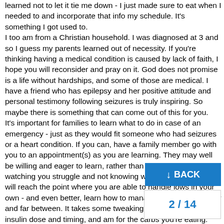learned not to let it tie me down - I just made sure to eat when I needed to and incorporate that info my schedule. It's something I got used to.
I too am from a Christian household. I was diagnosed at 3 and so I guess my parents learned out of necessity. If you're thinking having a medical condition is caused by lack of faith, I hope you will reconsider and pray on it. God does not promise is a life without hardships, and some of those are medical. I have a friend who has epilepsy and her positive attitude and personal testimony following seizures is truly inspiring. So maybe there is something that can come out of this for you.
It's important for families to learn what to do in case of an emergency - just as they would fit someone who had seizures or a heart condition. If you can, have a family member go with you to an appointment(s) as you are learning. They may well be willing and eager to learn, rather than sit by as bystanders watching you struggle and not knowing what to do. Ideally you will reach the point where you are able to handle lows in your own - and even better, learn how to manage yo... so they are few and far between. It takes some tweaking to find the right basal insulin dose and timing, and am... for the carbs you're eating. And you need t...